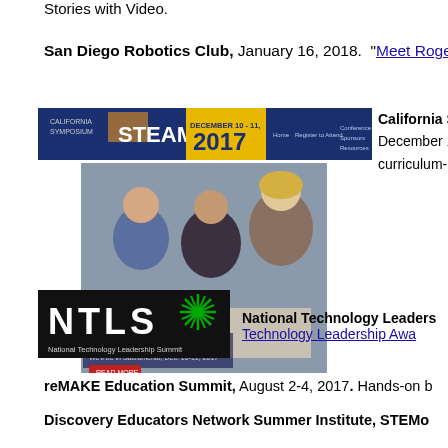Stories with Video.
San Diego Robotics Club, January 16, 2018. "Meet Roger...
[Figure (screenshot): California STEAM Symposium 2017 website banner and Engaging Makerspace event photo showing educators working together]
California S... December 1... curriculum-b...
[Figure (logo): National Technology Leadership Summit (NTLS) logo with black background, white text and green starburst]
National Technology Leaders... Technology Leadership Awa...
reMAKE Education Summit, August 2-4, 2017. Hands-on b...
Discovery Educators Network Summer Institute, STEMo...